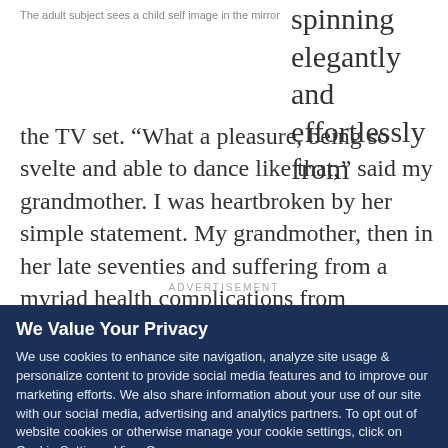The adult subject sees a child self image in the mirror
spinning elegantly and effortlessly from the TV set. “What a pleasure, being so svelte and able to dance like that, ” said my grandmother. I was heartbroken by her simple statement. My grandmother, then in her late seventies and suffering from a myriad health complications from diabetes, would never dance or feel light on her feet again. The past was gone for her, as it is for us all.
ADVERTISEMENT
We Value Your Privacy
We use cookies to enhance site navigation, analyze site usage & personalize content to provide social media features and to improve our marketing efforts. We also share information about your use of our site with our social media, advertising and analytics partners. To opt out of website cookies or otherwise manage your cookie settings, click on Cookie Settings. View O...